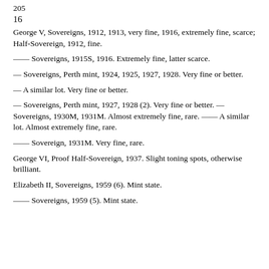205
16
George V, Sovereigns, 1912, 1913, very fine, 1916, extremely fine, scarce; Half-Sovereign, 1912, fine.
—— Sovereigns, 1915S, 1916. Extremely fine, latter scarce.
— Sovereigns, Perth mint, 1924, 1925, 1927, 1928. Very fine or better.
— A similar lot. Very fine or better.
— Sovereigns, Perth mint, 1927, 1928 (2). Very fine or better. — Sovereigns, 1930M, 1931M. Almost extremely fine, rare. —— A similar lot. Almost extremely fine, rare.
—— Sovereign, 1931M. Very fine, rare.
George VI, Proof Half-Sovereign, 1937. Slight toning spots, otherwise brilliant.
Elizabeth II, Sovereigns, 1959 (6). Mint state.
—— Sovereigns, 1959 (5). Mint state.